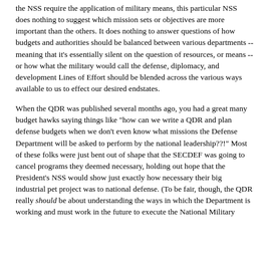the NSS require the application of military means, this particular NSS does nothing to suggest which mission sets or objectives are more important than the others. It does nothing to answer questions of how budgets and authorities should be balanced between various departments -- meaning that it's essentially silent on the question of resources, or means -- or how what the military would call the defense, diplomacy, and development Lines of Effort should be blended across the various ways available to us to effect our desired endstates.
When the QDR was published several months ago, you had a great many budget hawks saying things like "how can we write a QDR and plan defense budgets when we don't even know what missions the Defense Department will be asked to perform by the national leadership??!" Most of these folks were just bent out of shape that the SECDEF was going to cancel programs they deemed necessary, holding out hope that the President's NSS would show just exactly how necessary their big industrial pet project was to national defense. (To be fair, though, the QDR really should be about understanding the ways in which the Department is working and must work in the future to execute the National Military